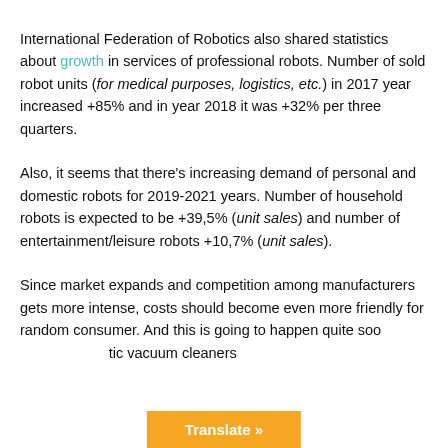International Federation of Robotics also shared statistics about growth in services of professional robots. Number of sold robot units (for medical purposes, logistics, etc.) in 2017 year increased +85% and in year 2018 it was +32% per three quarters.
Also, it seems that there's increasing demand of personal and domestic robots for 2019-2021 years. Number of household robots is expected to be +39,5% (unit sales) and number of entertainment/leisure robots +10,7% (unit sales).
Since market expands and competition among manufacturers gets more intense, costs should become even more friendly for random consumer. And this is going to happen quite soon... robotic vacuum cleaners
[Figure (other): Orange 'Translate »' button overlay at the bottom center of the page]